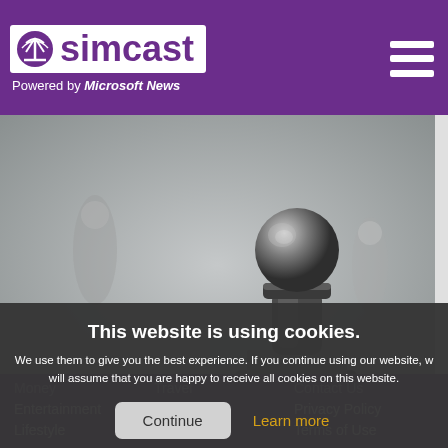simcast - Powered by Microsoft News
[Figure (photo): Close-up photo of a dark metallic chess pawn piece on a chess board, blurred background with other pieces]
Iranian Revolutionary Guard elite killed in Syria
This website is using cookies. We use them to give you the best experience. If you continue using our website, we will assume that you are happy to receive all cookies on this website.
Continue | Learn more
Money | Travel | Contact Us | Entertainment | Videos | Privacy Policy | Lifestyle | Sports | Terms of Use